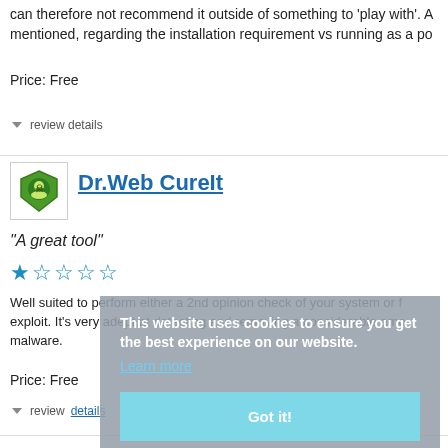can therefore not recommend it outside of something to 'play with'. A mentioned, regarding the installation requirement vs running as a po
Price: Free
review details
Dr.Web CureIt
“A great tool”
★★★★★ (1 star highlighted, 4 stars)
Well suited to perform either a 2nd opinion check of your system or f exploit. It's very adept at detecting and removing a considerable amo malware.
Price: Free
review details
This website uses cookies to ensure you get the best experience on our website. Learn more Got it!